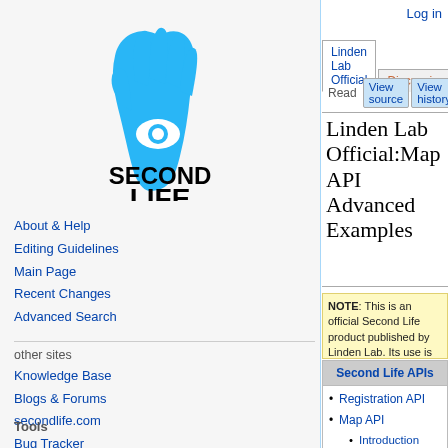[Figure (logo): Second Life logo: blue hand with eye, text SECOND LIFE in black]
Log in
Linden Lab Official | Discussion
Read | View source | View history | Search S
Linden Lab Official:Map API Advanced Examples
NOTE: This is an official Second Life product published by Linden Lab. Its use is subject to the API T
| Second Life APIs |
| --- |
| Registration API |
| Map API |
| Introduction |
| SLurl Technical Details |
About & Help
Editing Guidelines
Main Page
Recent Changes
Advanced Search
other sites
Knowledge Base
Blogs & Forums
secondlife.com
Bug Tracker
Support Portal
Tools